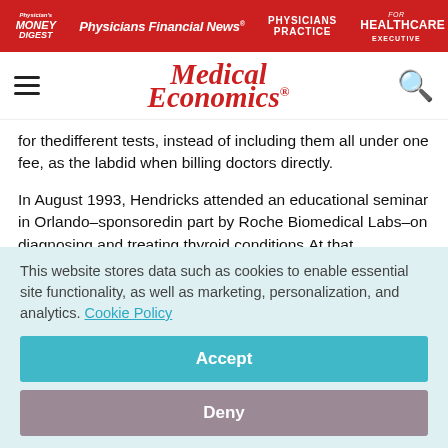Physician's Money Digest | Physicians Financial News | Physicians Practice | Healthcare Executive
[Figure (logo): Medical Economics logo with hamburger menu and search icon]
for thedifferent tests, instead of including them all under one fee, as the labdid when billing doctors directly.
In August 1993, Hendricks attended an educational seminar in Orlando–sponsoredin part by Roche Biomedical Labs–on diagnosing and treating thyroid conditions.At that conference, Roche's medical director introduced the main speaker an
This website stores data such as cookies to enable essential site functionality, as well as marketing, personalization, and analytics. Cookie Policy
Accept
Deny